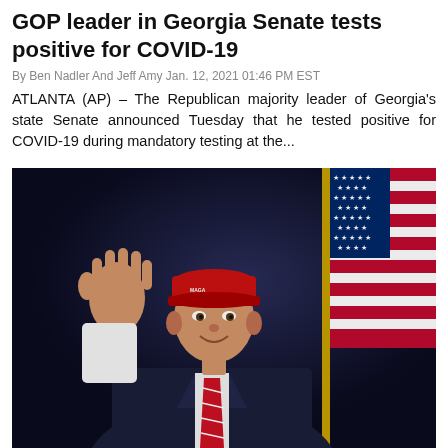GOP leader in Georgia Senate tests positive for COVID-19
By Ben Nadler And Jeff Amy Jan. 12, 2021 01:46 PM EST
ATLANTA (AP) – The Republican majority leader of Georgia's state Senate announced Tuesday that he tested positive for COVID-19 during mandatory testing at the...
[Figure (photo): Man in dark suit and red MAGA-style cap waving his right hand, smiling, standing in front of a US flag with gold fringe on a dark blue background.]